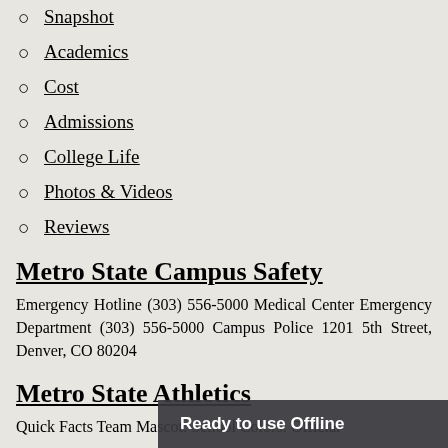Snapshot
Academics
Cost
Admissions
College Life
Photos & Videos
Reviews
Metro State Campus Safety
Emergency Hotline (303) 556-5000 Medical Center Emergency Department (303) 556-5000 Campus Police 1201 5th Street, Denver, CO 80204
Metro State Athletics
Quick Facts Team Mascot: School Colors: Official
Ready to use Offline